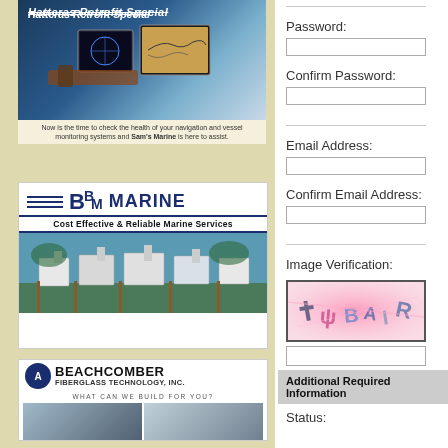[Figure (photo): Hatteras Retrofit Special - boat navigation/electronics display advertisement]
Now is the time to check the health of your navigation and vessel monitoring systems and Sam's Marine is here to assist.
[Figure (photo): BBM Marine - Cost Effective & Reliable Marine Services - marina with boats]
[Figure (photo): Beachcomber Fiberglass Technology, Inc. - What can we build for you? - boat photos]
Password:
Confirm Password:
Email Address:
Confirm Email Address:
Image Verification:
[Figure (other): CAPTCHA image verification with distorted text on pink/red background]
Additional Required Information
Status: